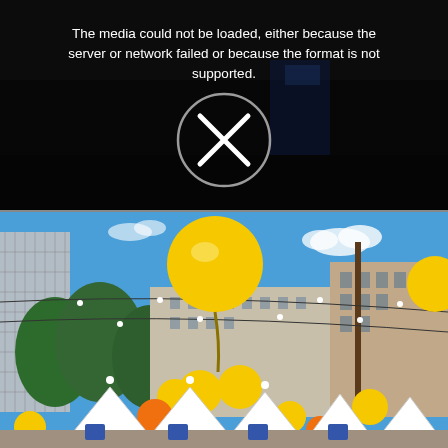[Figure (other): Video player error state: dark background with crowd scene barely visible, overlaid with text 'The media could not be loaded, either because the server or network failed or because the format is not supported.' and a circle with X icon.]
[Figure (photo): Outdoor street festival photograph showing yellow and orange balloons floating above a city street lined with trees, white market tents, string lights, and European-style buildings under a clear blue sky.]